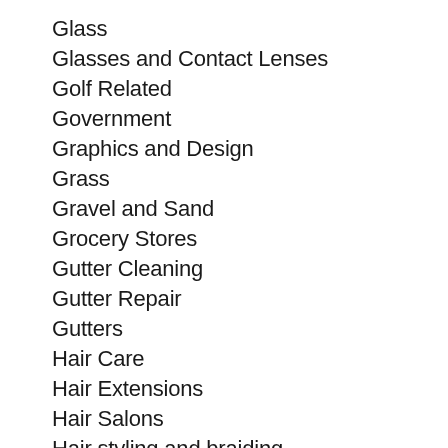Glass
Glasses and Contact Lenses
Golf Related
Government
Graphics and Design
Grass
Gravel and Sand
Grocery Stores
Gutter Cleaning
Gutter Repair
Gutters
Hair Care
Hair Extensions
Hair Salons
Hair styling and braiding